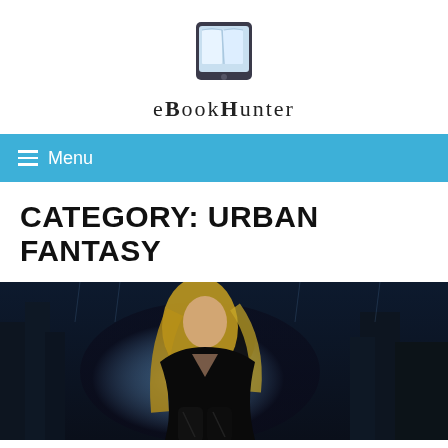[Figure (logo): eBookHunter logo: a tablet/e-reader device icon with an open book graphic in blue tones, centered above the site name]
eBOOKHUNTER
≡ Menu
CATEGORY: URBAN FANTASY
[Figure (photo): Urban fantasy book cover image showing a blonde woman in black leather jacket and pants in a dark city night scene with glowing light effects]